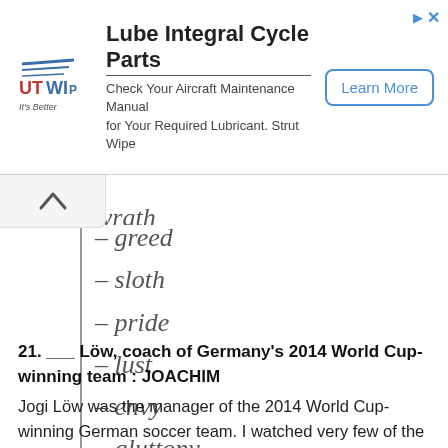[Figure (other): Advertisement banner for Lube Integral Cycle Parts / Strut Wipe with logo, text, and Learn More button]
– wrath
– greed
– sloth
– pride
– lust
– envy
– gluttony
21. ___ Löw, coach of Germany's 2014 World Cup-winning team : JOACHIM
Jogi Löw was the manager of the 2014 World Cup-winning German soccer team. I watched very few of the 2014 World Cup matches, but did see Germany's remarkable 7-1 victory over Brazil in the semifinal...